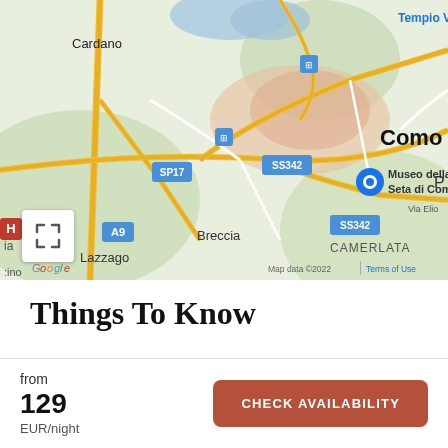[Figure (map): Google Maps view of Como, Italy showing Cardano, Tempio Voltiano, Museo della Seta di Como, Breccia, Lazzago, Camerlata areas with roads SS342, SP17, A9 marked. Map data ©2022.]
Things To Know
Check in 3PM
from
129
EUR/night
CHECK AVAILABILITY